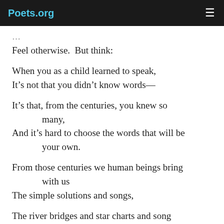Poets.org
Feel otherwise.  But think:
When you as a child learned to speak,
It’s not that you didn’t know words—
It’s that, from the centuries, you knew so many,
And it’s hard to choose the words that will be your own.
From those centuries we human beings bring with us
The simple solutions and songs,
The river bridges and star charts and song harmonies
All in service to a simple idea: